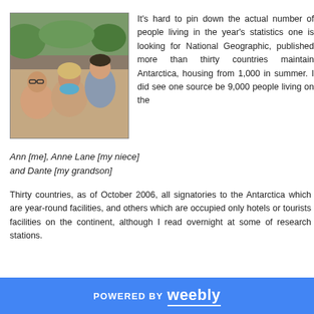[Figure (photo): A selfie photo of three people — two women and a young man — at what appears to be an outdoor restaurant or cafe setting.]
It's hard to pin down the actual number of people living in the year's statistics one is looking for National Geographic, pub more than thirty countries m Antarctica, housing from 1,00 summer. I did see one source be 9,000 people living on the
Ann [me], Anne Lane [my niece] and Dante [my grandson]
Thirty countries, as of October 2006, all signatories to the Anta which are year-round facilities, and others which are occupied o hotels or tourists facilities on the continent, although I read overnight at some of research stations.
POWERED BY weebly